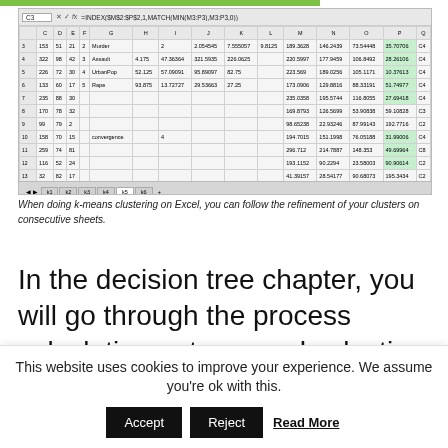[Figure (screenshot): Excel spreadsheet screenshot showing k-means clustering data with columns C through O, formula bar showing =INDEX($M$2:$P$2,1,MATCH(MIN(M3:P3),M3:P3,0)), multiple rows of data, and sheet tabs k1 through k6 at the bottom.]
When doing k-means clustering on Excel, you can follow the refinement of your clusters on consecutive sheets.
In the decision tree chapter, you will go through the process calculating entropy and selecting features for each branch of your machine learning model. Again, the process is slow and manual, but seeing
This website uses cookies to improve your experience. We assume you're ok with this. Accept Reject Read More